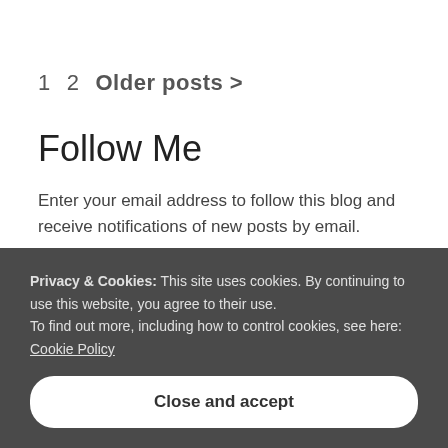1   2   Older posts  >
Follow Me
Enter your email address to follow this blog and receive notifications of new posts by email.
Enter your email address
Privacy & Cookies: This site uses cookies. By continuing to use this website, you agree to their use.
To find out more, including how to control cookies, see here: Cookie Policy
Close and accept